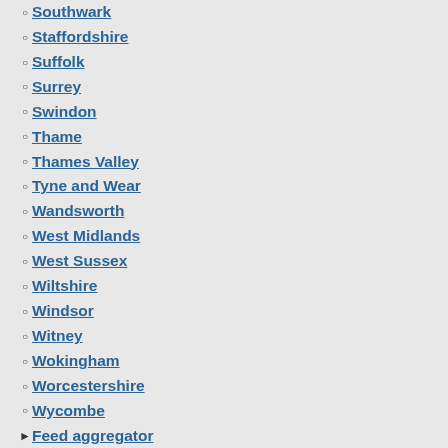Southwark
Staffordshire
Suffolk
Surrey
Swindon
Thame
Thames Valley
Tyne and Wear
Wandsworth
West Midlands
West Sussex
Wiltshire
Windsor
Witney
Wokingham
Worcestershire
Wycombe
Feed aggregator
User login